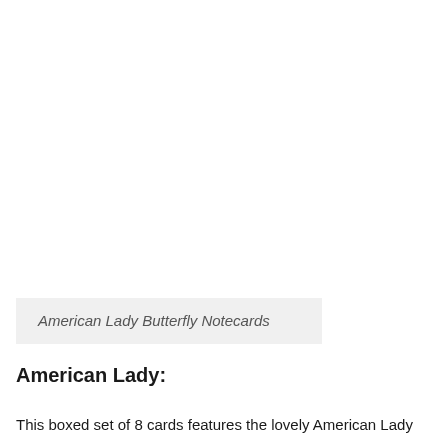American Lady Butterfly Notecards
American Lady:
This boxed set of 8 cards features the lovely American Lady